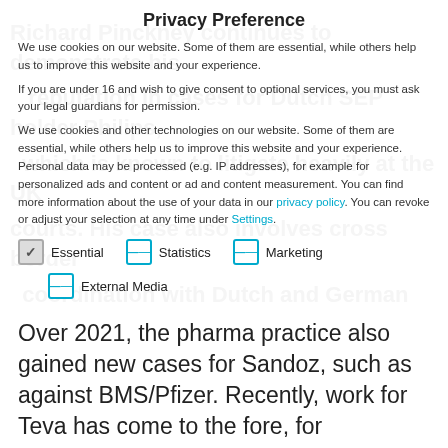Privacy Preference
We use cookies on our website. Some of them are essential, while others help us to improve this website and your experience.
If you are under 16 and wish to give consent to optional services, you must ask your legal guardians for permission.
We use cookies and other technologies on our website. Some of them are essential, while others help us to improve this website and your experience. Personal data may be processed (e.g. IP addresses), for example for personalized ads and content or ad and content measurement. You can find more information about the use of your data in our privacy policy. You can revoke or adjust your selection at any time under Settings.
Essential
Statistics
Marketing
External Media
Over 2021, the pharma practice also gained new cases for Sandoz, such as against BMS/Pfizer. Recently, work for Teva has come to the fore, for